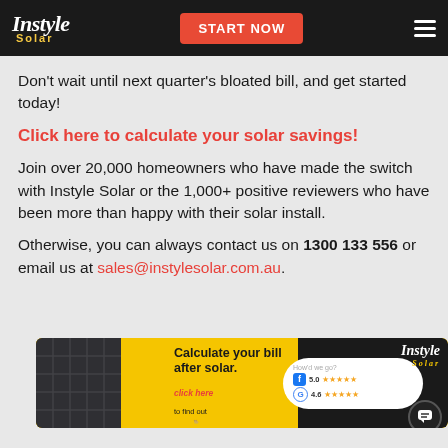Instyle Solar — START NOW
Don't wait until next quarter's bloated bill, and get started today!
Click here to calculate your solar savings!
Join over 20,000 homeowners who have made the switch with Instyle Solar or the 1,000+ positive reviewers who have been more than happy with their solar install.
Otherwise, you can always contact us on 1300 133 556 or email us at sales@instylesolar.com.au.
[Figure (infographic): Yellow banner advertisement for Instyle Solar showing solar panel image, 'Calculate your bill after solar. click here to find out' text, and social proof with Facebook 5.0 stars and Google 4.6 stars ratings, with Instyle Solar logo on black background.]